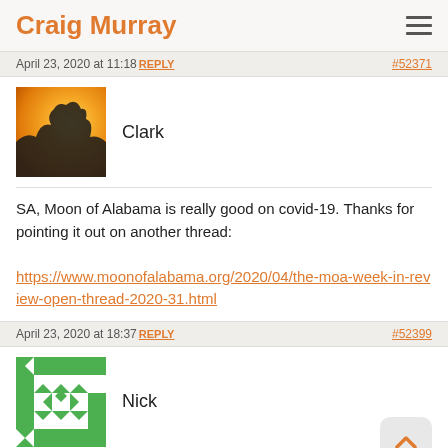Craig Murray
April 23, 2020 at 11:18 REPLY  #52371
Clark
SA, Moon of Alabama is really good on covid-19. Thanks for pointing it out on another thread:
https://www.moonofalabama.org/2020/04/the-moa-week-in-review-open-thread-2020-31.html
April 23, 2020 at 18:37 REPLY  #52399
Nick
What do you the favour think of the factor 2 of the acco... a life ni...